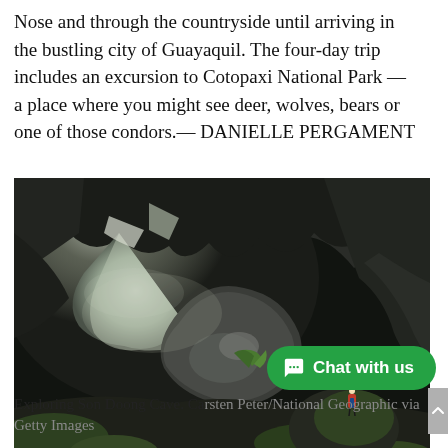Nose and through the countryside until arriving in the bustling city of Guayaquil. The four-day trip includes an excursion to Cotopaxi National Park — a place where you might see deer, wolves, bears or one of those condors.— DANIELLE PERGAMENT
[Figure (photo): A person standing inside the enormous Son Doong Cave, Vietnam. Rock formations, green vegetation, and a large opening in the cave ceiling letting in misty light. The person is tiny compared to the cave scale.]
Exploring Son Doong Cave. Carsten Peter/National Geographic via Getty Images